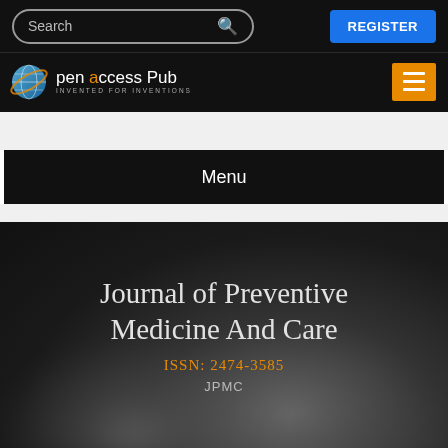Search | REGISTER
[Figure (logo): Open Access Pub logo with globe icon and tagline INVENTED FOR INVENTIONS]
Menu
Journal of Preventive Medicine And Care
ISSN: 2474-3585
JPMC